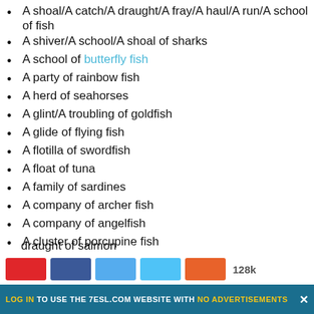A shoal/A catch/A draught/A fray/A haul/A run/A school of fish
A shiver/A school/A shoal of sharks
A school of butterfly fish
A party of rainbow fish
A herd of seahorses
A glint/A troubling of goldfish
A glide of flying fish
A flotilla of swordfish
A float of tuna
A family of sardines
A company of archer fish
A company of angelfish
A cluster of porcupine fish
A bind/A leap/A school/A shoal/A run/A draught of salmon
LOG IN TO USE THE 7ESL.COM WEBSITE WITH NO ADVERTISEMENTS